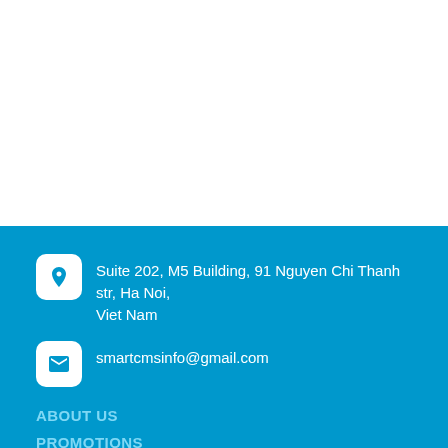Suite 202, M5 Building, 91 Nguyen Chi Thanh str, Ha Noi, Viet Nam
smartcmsinfo@gmail.com
ABOUT US
PROMOTIONS